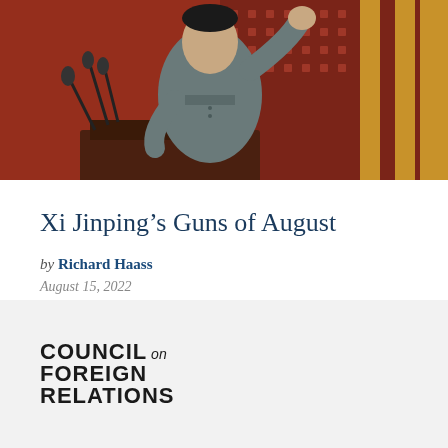[Figure (photo): A man in a grey Mao suit standing at a podium with microphones, raising his right hand, in front of ornate red and gold Chinese architectural elements in the background.]
Xi Jinping’s Guns of August
by Richard Haass
August 15, 2022
[Figure (logo): Council on Foreign Relations logo text: COUNCIL on FOREIGN RELATIONS]